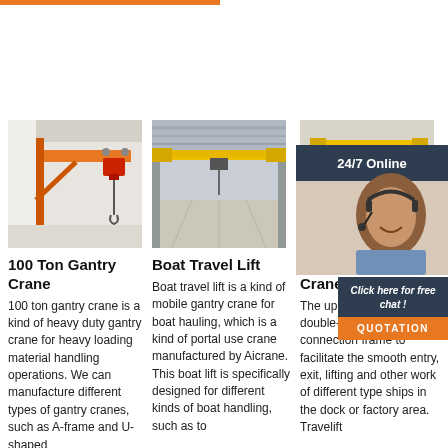[Figure (photo): Orange wall-mounted jib crane with red hoist in white industrial building]
[Figure (photo): Large yellow overhead bridge crane inside a spacious industrial warehouse]
[Figure (photo): Yellow mobile hoist with green electric block and hook]
[Figure (photo): Customer service representative smiling with headset, 24/7 Online callout]
100 Ton Gantry Crane
100 ton gantry crane is a kind of heavy duty gantry crane for heavy loading material handling operations. We can manufacture different types of gantry cranes, such as A-frame and U-shaped
Boat Travel Lift
Boat travel lift is a kind of mobile gantry crane for boat hauling, which is a kind of portal use crane manufactured by Aicrane. This boat lift is specifically designed for different kinds of boat handling, such as to
Mobile Hoist – Crane
The upper structure is a double-frame U-shaped connection frame to facilitate the smooth entry, exit, lifting and other work of different type ships in the dock or factory area. Travelift